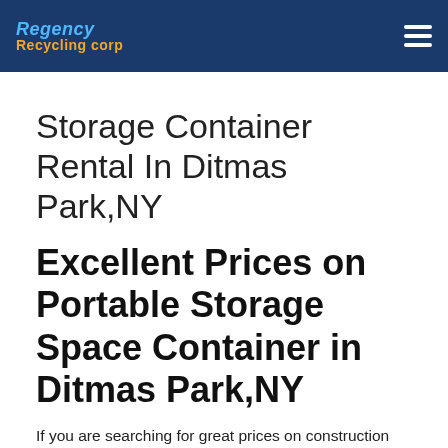Regency Recycling corp
Storage Container Rental In Ditmas Park,NY
Excellent Prices on Portable Storage Space Container in Ditmas Park,NY
If you are searching for great prices on construction storage containers in Ditmas Park,NY then you've come to the right place. Regency Recycling helps people discover, compare, and save 100s or even